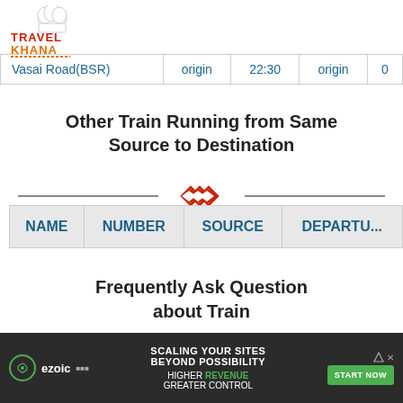[Figure (logo): Travel Khana logo with chef hat icon, red and orange text]
| Station |  | Time |  | Day |
| --- | --- | --- | --- | --- |
| Vasai Road(BSR) | origin | 22:30 | origin | 0 |
Other Train Running from Same Source to Destination
[Figure (illustration): Decorative diamond divider with horizontal lines]
| NAME | NUMBER | SOURCE | DEPARTURE |
| --- | --- | --- | --- |
Frequently Ask Question about Train
[Figure (illustration): Decorative diamond divider with horizontal lines]
What is the train number of
[Figure (screenshot): Ezoic ad banner: SCALING YOUR SITES BEYOND POSSIBILITY, HIGHER REVENUE GREATER CONTROL, START NOW button]